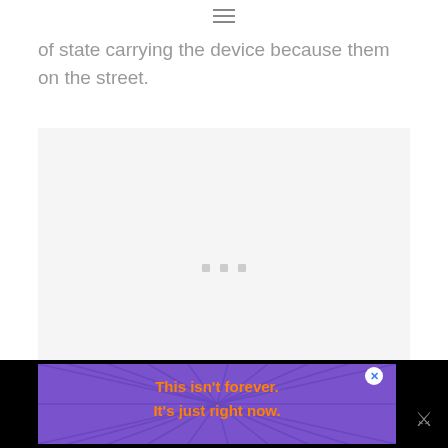☰
of state carrying the device because them on the street.
[Figure (other): Large light gray placeholder box with three small gray square dots in the center, representing a loading or missing image area.]
[Figure (infographic): Advertisement banner with black background. Contains a purple banner with sunburst ray pattern and orange bold text reading: This isn't forever. It's just right now. A white circular X close button is visible. A small logo icon appears at the bottom right.]